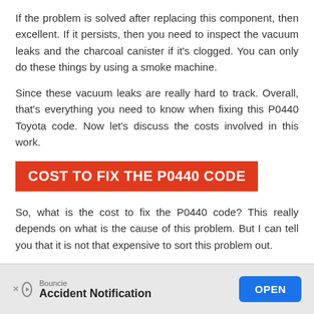If the problem is solved after replacing this component, then excellent. If it persists, then you need to inspect the vacuum leaks and the charcoal canister if it's clogged. You can only do these things by using a smoke machine.
Since these vacuum leaks are really hard to track. Overall, that's everything you need to know when fixing this P0440 Toyota code. Now let's discuss the costs involved in this work.
COST TO FIX THE P0440 CODE
So, what is the cost to fix the P0440 code? This really depends on what is the cause of this problem. But I can tell you that it is not that expensive to sort this problem out.
[Figure (other): Advertisement banner for Bouncie Accident Notification app with an OPEN button]